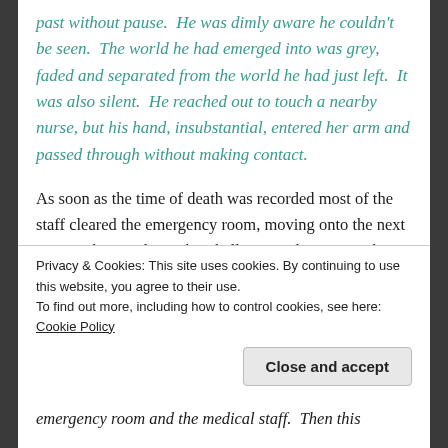past without pause.  He was dimly aware he couldn't be seen.  The world he had emerged into was grey, faded and separated from the world he had just left.  It was also silent.  He reached out to touch a nearby nurse, but his hand, insubstantial, entered her arm and passed through without making contact.
As soon as the time of death was recorded most of the staff cleared the emergency room, moving onto the next crisis.  She stood over his shell, stunned, ignoring the nurses who fussed around him, tidying up the detritus of the failed attempt to save him.  She thought back to the accident: they had been
Privacy & Cookies: This site uses cookies. By continuing to use this website, you agree to their use.
To find out more, including how to control cookies, see here: Cookie Policy
Close and accept
emergency room and the medical staff.  Then this